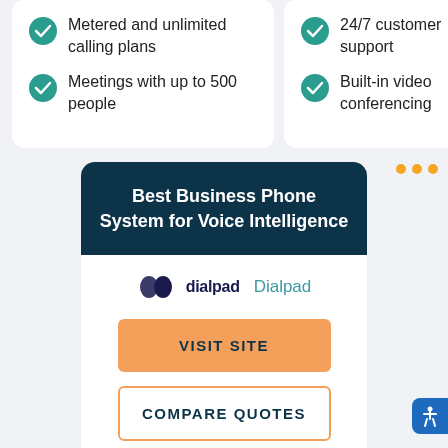Metered and unlimited calling plans
Meetings with up to 500 people
24/7 customer support
Built-in video conferencing
Best Business Phone System for Voice Intelligence
[Figure (logo): Dialpad logo with text 'dialpad' and brand name 'Dialpad']
VISIT SITE
COMPARE QUOTES